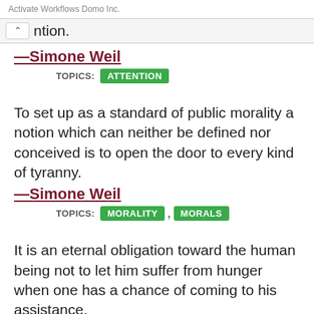Activate Workflows Domo Inc.
ntion.
—Simone Weil
TOPICS: ATTENTION
To set up as a standard of public morality a notion which can neither be defined nor conceived is to open the door to every kind of tyranny.
—Simone Weil
TOPICS: MORALITY , MORALS
It is an eternal obligation toward the human being not to let him suffer from hunger when one has a chance of coming to his assistance.
—Simone Weil